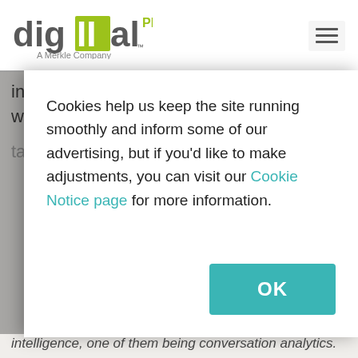digital PI - A Merkle Company
in molding your call intelligence around the way you
tag phone calls
Cookies help us keep the site running smoothly and inform some of our advertising, but if you'd like to make adjustments, you can visit our Cookie Notice page for more information.
OK
intelligence, one of them being conversation analytics.